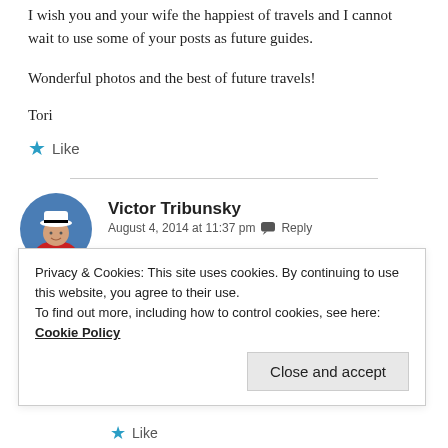I wish you and your wife the happiest of travels and I cannot wait to use some of your posts as future guides.
Wonderful photos and the best of future travels!
Tori
★ Like
[Figure (photo): Avatar photo of Victor Tribunsky — man in white captain hat and red shirt, circular crop with blue background]
Victor Tribunsky
August 4, 2014 at 11:37 pm  Reply
Privacy & Cookies: This site uses cookies. By continuing to use this website, you agree to their use.
To find out more, including how to control cookies, see here: Cookie Policy
Close and accept
★ Like